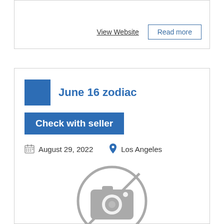View Website
Read more
June 16 zodiac
Check with seller
August 29, 2022
Los Angeles
[Figure (illustration): No photo available placeholder icon — a camera with a diagonal slash through it, inside a circle, rendered in grey]